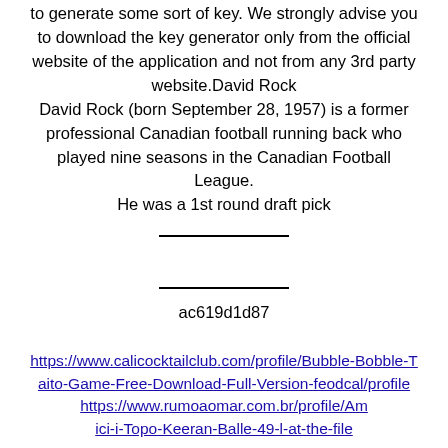to generate some sort of key. We strongly advise you to download the key generator only from the official website of the application and not from any 3rd party website.David Rock
David Rock (born September 28, 1957) is a former professional Canadian football running back who played nine seasons in the Canadian Football League.
He was a 1st round draft pick
ac619d1d87
https://www.calicocktailclub.com/profile/Bubble-Bobble-Taito-Game-Free-Download-Full-Version-feodcal/profile
https://www.rumoaomar.com.br/profile/Amici-i-Topo-Keeran-Balle-49-l-at-the-file